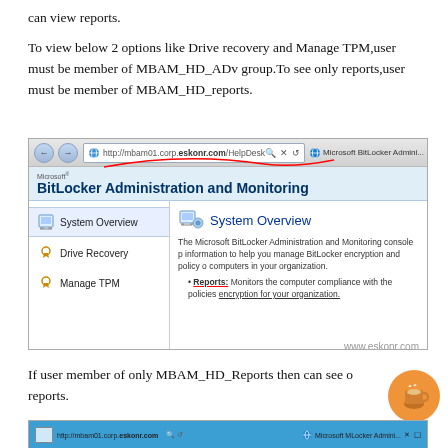can view reports.
To view below 2 options like Drive recovery and Manage TPM,user must be member of MBAM_HD_ADv group.To see only reports,user must be member of MBAM_HD_reports.
[Figure (screenshot): Screenshot of Microsoft BitLocker Administration and Monitoring web console showing browser address bar with http://mbam01.corp.eskonr.com/HelpDesk, navigation sidebar with System Overview (active), Drive Recovery, and Manage TPM options, and main content showing System Overview description with Reports bullet point. Red curved underline annotation on address bar. Watermark: www.eskonr.com]
If user member of only MBAM_HD_Reports then can see only reports.
[Figure (screenshot): Partial screenshot of another BitLocker Administration console view at bottom of page]